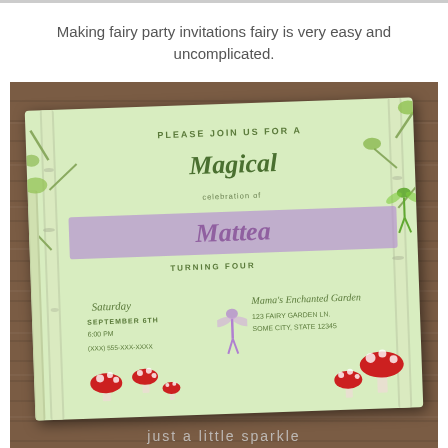Making fairy party invitations fairy is very easy and uncomplicated.
[Figure (photo): A fairy-themed birthday party invitation card (for Mattea, turning four) displayed on a wooden table surface. The card features a light green background with birch tree illustrations, fairy figures, red mushrooms, and text including 'PLEASE JOIN US FOR A Magical celebration of Mattea TURNING FOUR' with event details. Below the image is a watermark reading 'just a little sparkle'.]